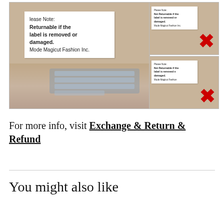[Figure (photo): Three photos showing a product label in a clear plastic bag. The label reads 'Please Note: Not Returnable if the label is removed or damaged. Mode Magicut Fashion Inc.' The two right-side photos each have a red X overlaid, indicating the item is non-returnable if the label is removed.]
For more info, visit Exchange & Return & Refund
You might also like